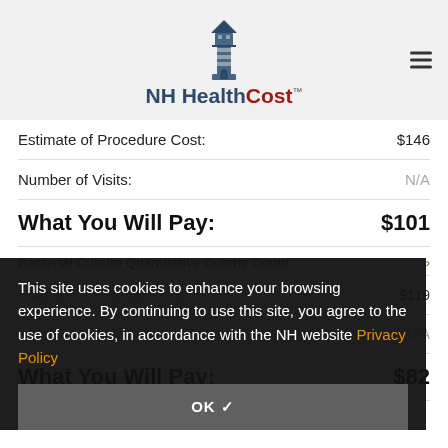NH HealthCost™
Estimate of Procedure Cost: $146
Number of Visits: N/A
What You Will Pay: $101
This site uses cookies to enhance your browsing experience. By continuing to use this site, you agree to the use of cookies, in accordance with the NH website Privacy Policy
OK ✓
Bacterial Culture Quantitative Colony Count ›
Estimate of Procedure Cost: $119
Number of Visits: N/A
What You Will Pay: $82